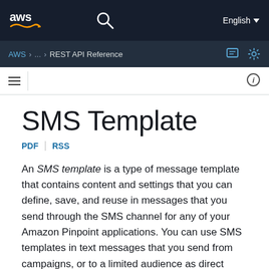aws  [search]  English
AWS > ... > REST API Reference
SMS Template
PDF | RSS
An SMS template is a type of message template that contains content and settings that you can define, save, and reuse in messages that you send through the SMS channel for any of your Amazon Pinpoint applications. You can use SMS templates in text messages that you send from campaigns, or to a limited audience as direct contact messages.